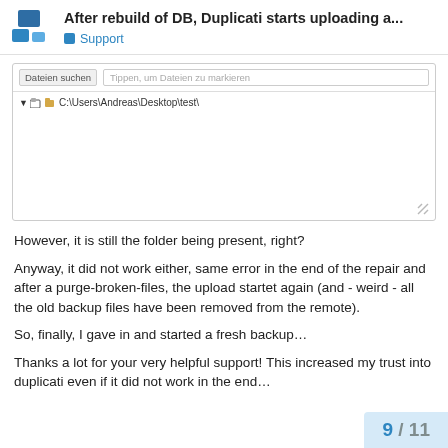After rebuild of DB, Duplicati starts uploading a... — Support
[Figure (screenshot): File browser UI showing search bar with 'Dateien suchen' button and 'Tippen, um Dateien zu markieren' input, and a file tree showing C:\Users\Andreas\Desktop\test\]
However, it is still the folder being present, right?
Anyway, it did not work either, same error in the end of the repair and after a purge-broken-files, the upload startet again (and - weird - all the old backup files have been removed from the remote).
So, finally, I gave in and started a fresh backup…
Thanks a lot for your very helpful support! This increased my trust into duplicati even if it did not work in the end…
9 / 11